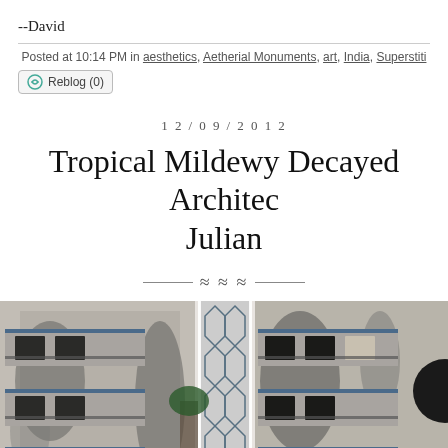--David
Posted at 10:14 PM in aesthetics, Aetherial Monuments, art, India, Superstiti...
Reblog (0)
12/09/2012
Tropical Mildewy Decayed Architecture Julian
[Figure (photo): Black and white photograph of a tropical decayed building facade showing multiple floors with balconies, ornate window grilles, mildew-stained concrete columns, and lush green foliage in the foreground.]